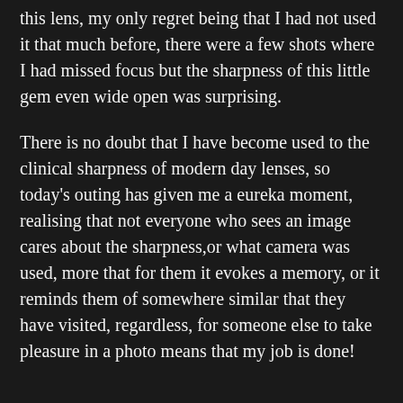this lens, my only regret being that I had not used it that much before, there were a few shots where I had missed focus but the sharpness of this little gem even wide open was surprising.
There is no doubt that I have become used to the clinical sharpness of modern day lenses, so today's outing has given me a eureka moment, realising that not everyone who sees an image cares about the sharpness,or what camera was used, more that for them it evokes a memory, or it reminds them of somewhere similar that they have visited, regardless, for someone else to take pleasure in a photo means that my job is done!